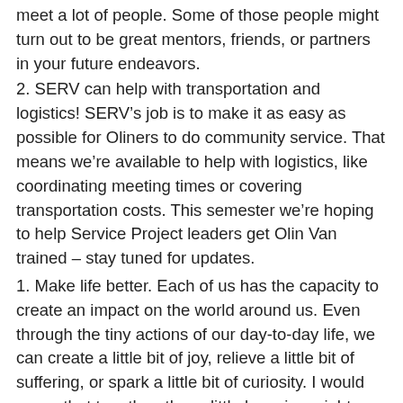meet a lot of people. Some of those people might turn out to be great mentors, friends, or partners in your future endeavors.
2. SERV can help with transportation and logistics! SERV's job is to make it as easy as possible for Oliners to do community service. That means we're available to help with logistics, like coordinating meeting times or covering transportation costs. This semester we're hoping to help Service Project leaders get Olin Van trained – stay tuned for updates.
1. Make life better. Each of us has the capacity to create an impact on the world around us. Even through the tiny actions of our day-to-day life, we can create a little bit of joy, relieve a little bit of suffering, or spark a little bit of curiosity. I would argue that together, these little legacies might equal all the Big Things we will do in our lives.
Doing community service is a good way to keep that in